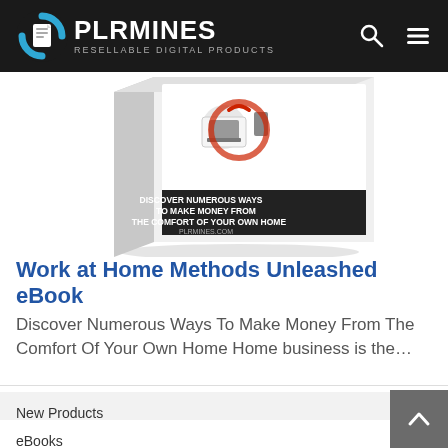PLRMINES — RESELLABLE DIGITAL PRODUCTS
[Figure (illustration): 3D book cover for 'Work at Home Methods Unleashed eBook' showing illustrations of home office items and text 'Discover Numerous Ways To Make Money From The Comfort Of Your Own Home' and 'PLRMINES.COM']
Work at Home Methods Unleashed eBook
Discover Numerous Ways To Make Money From The Comfort Of Your Own Home Home business is the…
New Products
eBooks